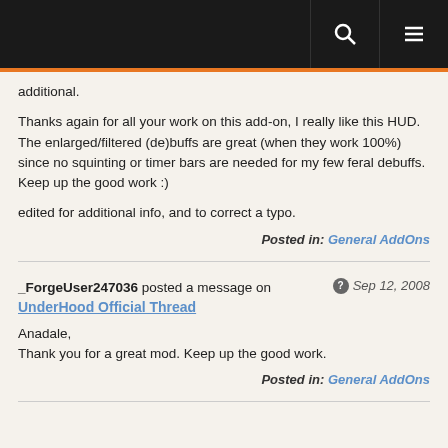additional.
Thanks again for all your work on this add-on, I really like this HUD. The enlarged/filtered (de)buffs are great (when they work 100%) since no squinting or timer bars are needed for my few feral debuffs. Keep up the good work :)
edited for additional info, and to correct a typo.
Posted in: General AddOns
_ForgeUser247036 posted a message on — Sep 12, 2008
UnderHood Official Thread
Anadale,
Thank you for a great mod. Keep up the good work.
Posted in: General AddOns